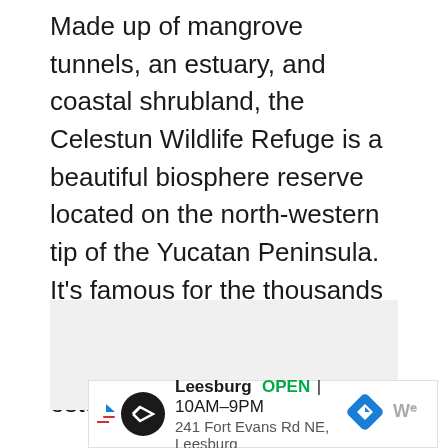Made up of mangrove tunnels, an estuary, and coastal shrubland, the Celestun Wildlife Refuge is a beautiful biosphere reserve located on the north-western tip of the Yucatan Peninsula. It's famous for the thousands of pink flamingoes that wade in the waters of the natural estuary here.
[Figure (photo): Light gray placeholder rectangle representing an image area]
[Figure (infographic): Advertisement bar: Leesburg OPEN 10AM-9PM, 241 Fort Evans Rd NE, Leesburg. Shows a circular black logo with arrows, a blue diamond navigation arrow, and Waze icon.]